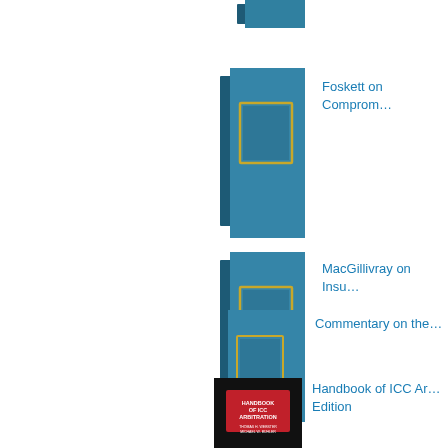[Figure (illustration): Blue hardcover book partially visible at top]
Foskett on Compromis…
[Figure (illustration): Blue hardcover book with gold rectangle frame on cover]
MacGillivray on Insu…
[Figure (illustration): Blue hardcover book with gold rectangle frame on cover]
Commentary on the…
[Figure (illustration): Blue hardcover book with gold rectangle frame on cover]
[Figure (illustration): Black hardcover book with red label reading HANDBOOK OF ICC ARBITRATION]
Handbook of ICC Ar… Edition